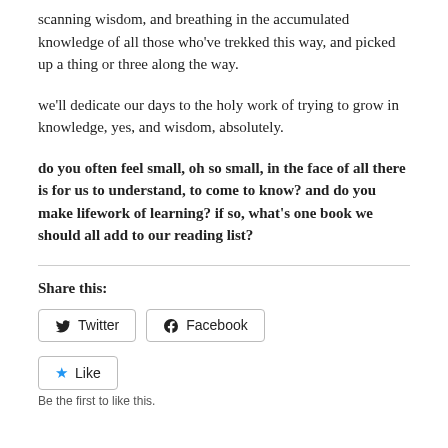scanning wisdom, and breathing in the accumulated knowledge of all those who've trekked this way, and picked up a thing or three along the way.
we'll dedicate our days to the holy work of trying to grow in knowledge, yes, and wisdom, absolutely.
do you often feel small, oh so small, in the face of all there is for us to understand, to come to know? and do you make lifework of learning? if so, what's one book we should all add to our reading list?
Share this:
Twitter  Facebook
Like
Be the first to like this.